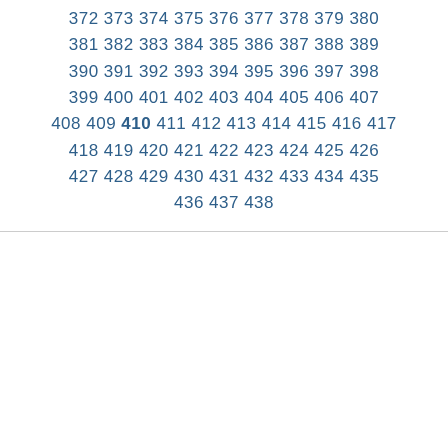372 373 374 375 376 377 378 379 380 381 382 383 384 385 386 387 388 389 390 391 392 393 394 395 396 397 398 399 400 401 402 403 404 405 406 407 408 409 410 411 412 413 414 415 416 417 418 419 420 421 422 423 424 425 426 427 428 429 430 431 432 433 434 435 436 437 438